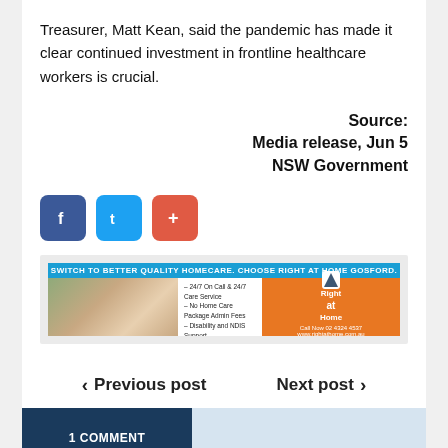Treasurer, Matt Kean, said the pandemic has made it clear continued investment in frontline healthcare workers is crucial.
Source:
Media release, Jun 5
NSW Government
[Figure (other): Social media share buttons: Facebook (blue rounded square), Twitter (light blue rounded square), Google+ or add (red/orange rounded square)]
[Figure (other): Advertisement banner for Right at Home Gosford homecare services. Header reads 'SWITCH TO BETTER QUALITY HOMECARE. CHOOSE RIGHT AT HOME GOSFORD.' with photo of carers and elderly person, list of services, and orange branding panel with logo and phone number.]
< Previous post    Next post >
1 COMMENT